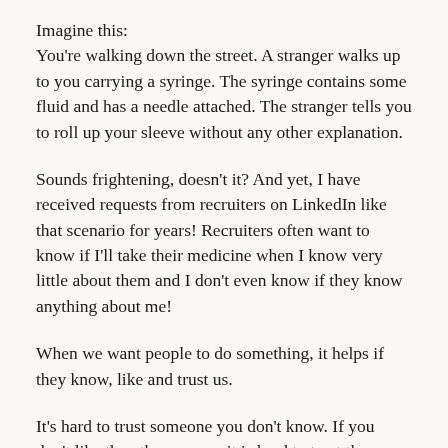Imagine this:
You're walking down the street. A stranger walks up to you carrying a syringe. The syringe contains some fluid and has a needle attached. The stranger tells you to roll up your sleeve without any other explanation.
Sounds frightening, doesn't it? And yet, I have received requests from recruiters on LinkedIn like that scenario for years! Recruiters often want to know if I'll take their medicine when I know very little about them and I don't even know if they know anything about me!
When we want people to do something, it helps if they know, like and trust us.
It's hard to trust someone you don't know. If you don't like the other person, it is hard to trust them,